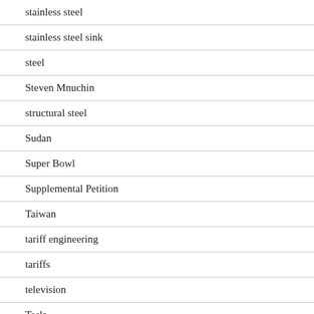stainless steel
stainless steel sink
steel
Steven Mnuchin
structural steel
Sudan
Super Bowl
Supplemental Petition
Taiwan
tariff engineering
tariffs
television
Tesla
TFTEA
Thailand